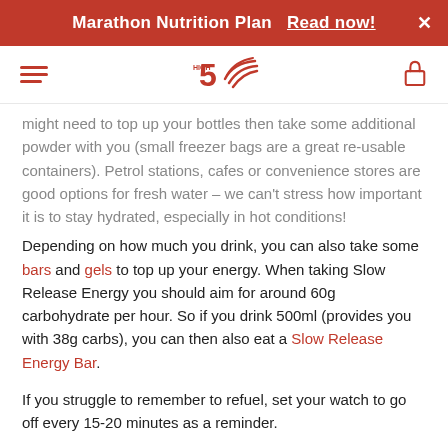Marathon Nutrition Plan  Read now!
might need to top up your bottles then take some additional powder with you (small freezer bags are a great re-usable containers). Petrol stations, cafes or convenience stores are good options for fresh water – we can't stress how important it is to stay hydrated, especially in hot conditions!
Depending on how much you drink, you can also take some bars and gels to top up your energy. When taking Slow Release Energy you should aim for around 60g carbohydrate per hour. So if you drink 500ml (provides you with 38g carbs), you can then also eat a Slow Release Energy Bar.
If you struggle to remember to refuel, set your watch to go off every 15-20 minutes as a reminder.
Find out h...